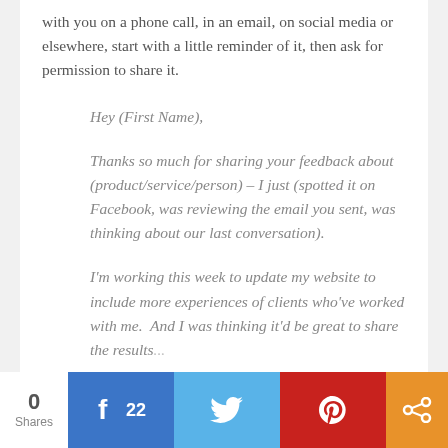with you on a phone call, in an email, on social media or elsewhere, start with a little reminder of it, then ask for permission to share it.
Hey (First Name),
Thanks so much for sharing your feedback about (product/service/person) – I just (spotted it on Facebook, was reviewing the email you sent, was thinking about our last conversation).
I'm working this week to update my website to include more experiences of clients who've worked with me.  And I was thinking it'd be great to share the results...
0 Shares  f 22  [Twitter]  [Pinterest]  [Share]